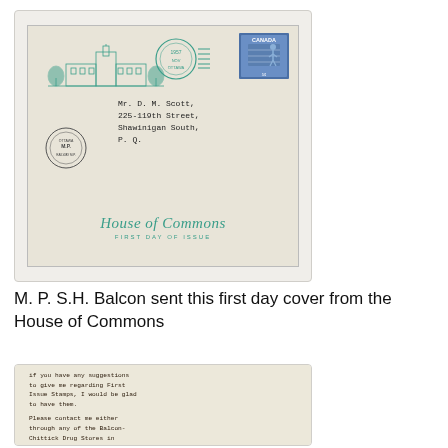[Figure (photo): A first day cover envelope with 'House of Commons' and 'FIRST DAY OF ISSUE' printed in teal/green. Features a Canadian postage stamp in top right, a teal decorative Parliament building illustration, a circular postmark, a circular seal on the left, and a typed address to 'Mr. D. M. Scott, 225-119th Street, Shawinigan South, P.Q.']
M. P. S.H. Balcon sent this first day cover from the House of Commons
[Figure (photo): Partial view of a typewritten letter with text: 'if you have any suggestions to give me regarding First Issue Stamps, I would be glad to have them. Please contact me either through any of the Balcon-Chittick Drug Stores in']